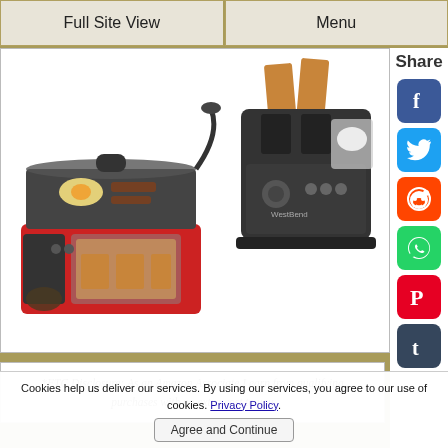Full Site View | Menu
[Figure (photo): Red 3-in-1 breakfast station appliance (coffee maker, griddle, toaster oven) with food cooking on top]
[Figure (photo): Black West Bend 3-in-1 breakfast station toaster with toast popping up and egg cooking compartment]
*FTC Disclosure: As an Amazon Associate I earn from qualifying purchases with no extra cost to you
[Figure (screenshot): Partial view of another product image at bottom of page]
Cookies help us deliver our services. By using our services, you agree to our use of cookies. Privacy Policy.
Agree and Continue